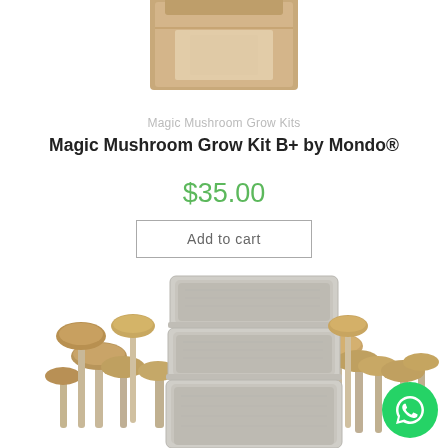[Figure (photo): Kraft paper box product packaging, top portion cropped]
Magic Mushroom Grow Kits
Magic Mushroom Grow Kit B+ by Mondo®
$35.00
Add to cart
[Figure (photo): Magic mushroom grow kit showing three stacked plastic containers filled with substrate, surrounded by growing psilocybin mushrooms with tan/brown caps on white background. WhatsApp chat button visible in bottom right corner.]